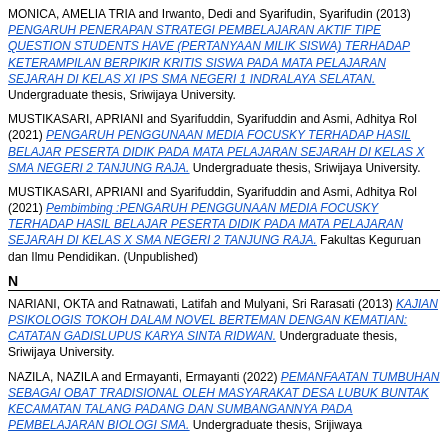MONICA, AMELIA TRIA and Irwanto, Dedi and Syarifudin, Syarifudin (2013) PENGARUH PENERAPAN STRATEGI PEMBELAJARAN AKTIF TIPE QUESTION STUDENTS HAVE (PERTANYAAN MILIK SISWA) TERHADAP KETERAMPILAN BERPIKIR KRITIS SISWA PADA MATA PELAJARAN SEJARAH DI KELAS XI IPS SMA NEGERI 1 INDRALAYA SELATAN. Undergraduate thesis, Sriwijaya University.
MUSTIKASARI, APRIANI and Syarifuddin, Syarifuddin and Asmi, Adhitya Rol (2021) PENGARUH PENGGUNAAN MEDIA FOCUSKY TERHADAP HASIL BELAJAR PESERTA DIDIK PADA MATA PELAJARAN SEJARAH DI KELAS X SMA NEGERI 2 TANJUNG RAJA. Undergraduate thesis, Sriwijaya University.
MUSTIKASARI, APRIANI and Syarifuddin, Syarifuddin and Asmi, Adhitya Rol (2021) Pembimbing :PENGARUH PENGGUNAAN MEDIA FOCUSKY TERHADAP HASIL BELAJAR PESERTA DIDIK PADA MATA PELAJARAN SEJARAH DI KELAS X SMA NEGERI 2 TANJUNG RAJA. Fakultas Keguruan dan Ilmu Pendidikan. (Unpublished)
N
NARIANI, OKTA and Ratnawati, Latifah and Mulyani, Sri Rarasati (2013) KAJIAN PSIKOLOGIS TOKOH DALAM NOVEL BERTEMAN DENGAN KEMATIAN: CATATAN GADISLUPUS KARYA SINTA RIDWAN. Undergraduate thesis, Sriwijaya University.
NAZILA, NAZILA and Ermayanti, Ermayanti (2022) PEMANFAATAN TUMBUHAN SEBAGAI OBAT TRADISIONAL OLEH MASYARAKAT DESA LUBUK BUNTAK KECAMATAN TALANG PADANG DAN SUMBANGANNYA PADA PEMBELAJARAN BIOLOGI SMA. Undergraduate thesis, Srijiwaya...